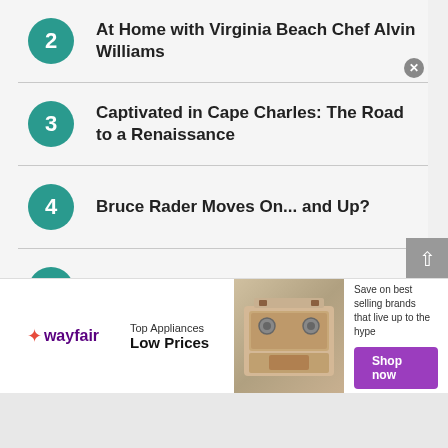2 At Home with Virginia Beach Chef Alvin Williams
3 Captivated in Cape Charles: The Road to a Renaissance
4 Bruce Rader Moves On... and Up?
5 Searching For Sea Glass
6 New Year, New Flavors: 17 Restaurants to Try in 2022
[Figure (other): Wayfair advertisement banner: Top Appliances Low Prices, Save on best selling brands that live up to the hype, Shop now button, image of a stove/range]